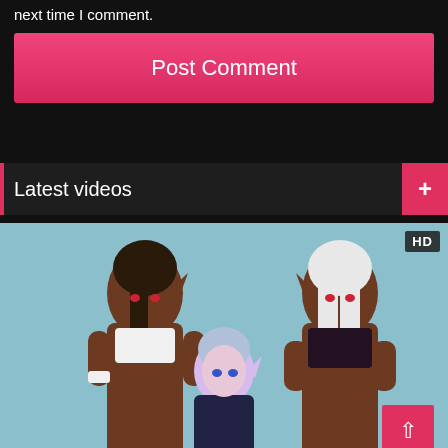next time I comment.
Post Comment
Latest videos
[Figure (illustration): Anime-style illustration of three dark-skinned elf characters with pointy ears. Two taller figures with dark and white hair flank a shorter figure with silver-blue hair in the center. HD badge in upper right corner.]